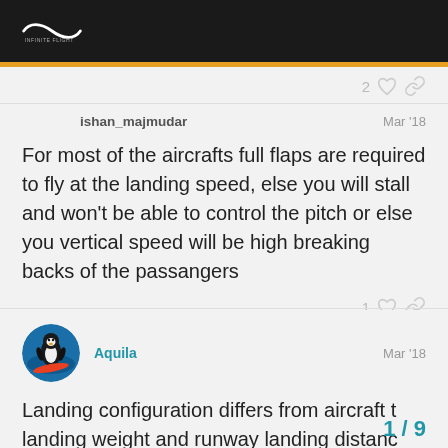Infinite Flight community forum header
ishan_majmudar  Mar '18
For most of the aircrafts full flaps are required to fly at the landing speed, else you will stall and won't be able to control the pitch or else you vertical speed will be high breaking backs of the passangers
1 like link
Aquila  Mar '18
Landing configuration differs from aircraft t landing weight and runway landing distanc
1 / 9